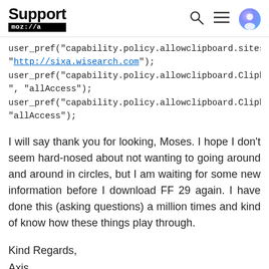Support mozilla//a
user_pref("capability.policy.allowclipboard.sites", "http://sixa.wisearch.com");
user_pref("capability.policy.allowclipboard.Clipboard.cutcopy", "allAccess");
user_pref("capability.policy.allowclipboard.Clipboard.paste", "allAccess");
I will say thank you for looking, Moses. I hope I don't seem hard-nosed about not wanting to going around and around in circles, but I am waiting for some new information before I download FF 29 again. I have done this (asking questions) a million times and kind of know how these things play through.
Kind Regards,
Axis